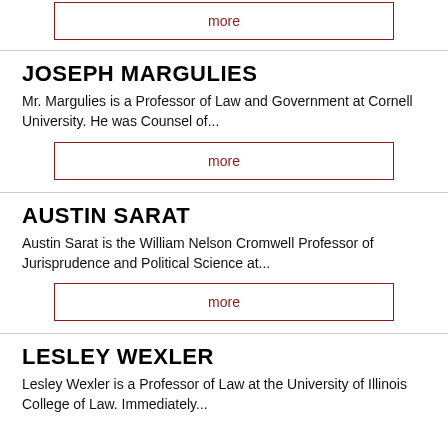more
JOSEPH MARGULIES
Mr. Margulies is a Professor of Law and Government at Cornell University. He was Counsel of...
more
AUSTIN SARAT
Austin Sarat is the William Nelson Cromwell Professor of Jurisprudence and Political Science at...
more
LESLEY WEXLER
Lesley Wexler is a Professor of Law at the University of Illinois College of Law. Immediately...